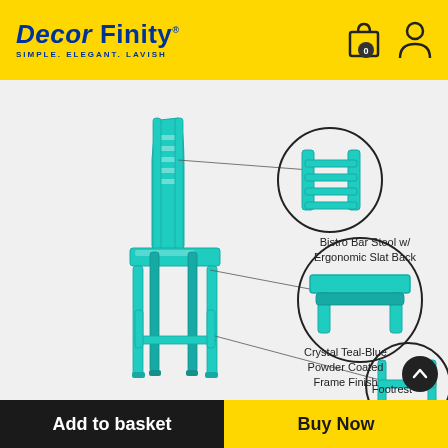Decor Finity® — SIMPLE. ELEGANT. LAVISH
[Figure (photo): A crystal teal-blue metal bistro bar stool with ergonomic slat back and footrest, shown with three detail callout circles: one showing the ergonomic slat back, one showing the crystal teal-blue powder coated frame finish, and one showing the footrest.]
Bistro Bar Stool w/ Ergonomic Slat Back
Crystal Teal-Blue Powder Coated Frame Finish
Footrest
Add to basket
Buy Now